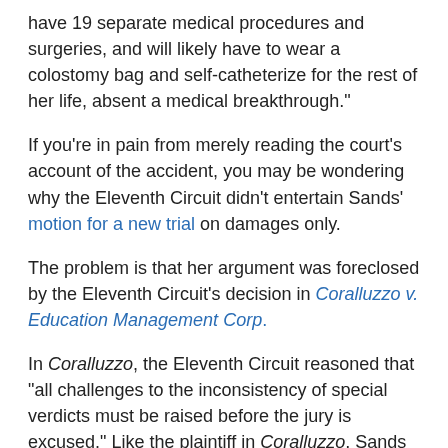have 19 separate medical procedures and surgeries, and will likely have to wear a colostomy bag and self-catheterize for the rest of her life, absent a medical breakthrough."
If you're in pain from merely reading the court's account of the accident, you may be wondering why the Eleventh Circuit didn't entertain Sands' motion for a new trial on damages only.
The problem is that her argument was foreclosed by the Eleventh Circuit's decision in Coralluzzo v. Education Management Corp.
In Coralluzzo, the Eleventh Circuit reasoned that "all challenges to the inconsistency of special verdicts must be raised before the jury is excused." Like the plaintiff in Coralluzzo, Sands did not object to the jury verdict as inconsistent before the jury was excused.